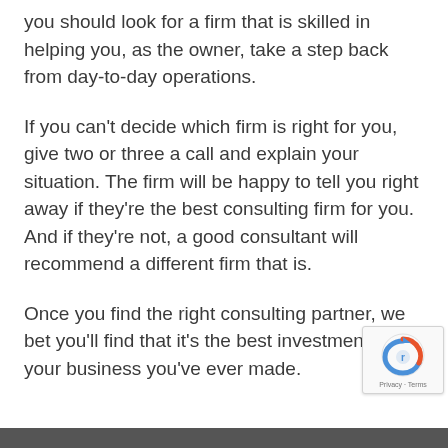you should look for a firm that is skilled in helping you, as the owner, take a step back from day-to-day operations.
If you can't decide which firm is right for you, give two or three a call and explain your situation. The firm will be happy to tell you right away if they're the best consulting firm for you. And if they're not, a good consultant will recommend a different firm that is.
Once you find the right consulting partner, we bet you'll find that it's the best investment in your business you've ever made.
[Figure (other): Google reCAPTCHA badge with circular arrow icon and 'Privacy · Terms' text]